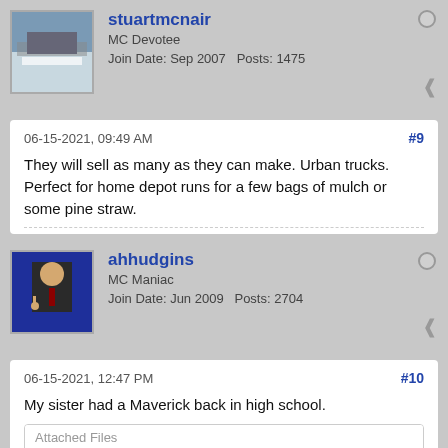stuartmcnair
MC Devotee
Join Date: Sep 2007  Posts: 1475
06-15-2021, 09:49 AM  #9
They will sell as many as they can make. Urban trucks. Perfect for home depot runs for a few bags of mulch or some pine straw.
ahhudgins
MC Maniac
Join Date: Jun 2009  Posts: 2704
06-15-2021, 12:47 PM  #10
My sister had a Maverick back in high school.
Attached Files
[Figure (photo): Outdoor landscape photo showing parked vehicles or similar scene with greenery in background]